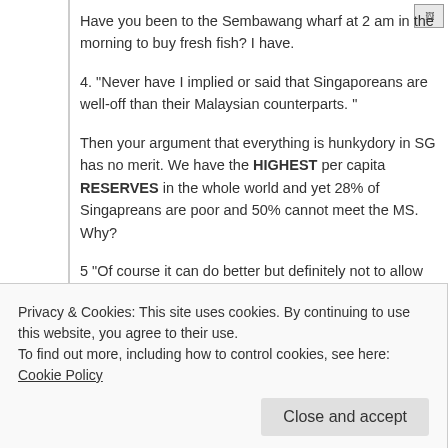Have you been to the Sembawang wharf at 2 am in the morning to buy fresh fish? I have.
4. "Never have I implied or said that Singaporeans are well-off than their Malaysian counterparts. "
Then your argument that everything is hunkydory in SG has no merit. We have the HIGHEST per capita RESERVES in the whole world and yet 28% of Singapreans are poor and 50% cannot meet the MS. Why?
5 "Of course it can do better but definitely not to allow everyone to buy cheap cars. With limited space, overpopulation of cars would only render the cars like a paper one used in funeral rites unable to
Privacy & Cookies: This site uses cookies. By continuing to use this website, you agree to their use.
To find out more, including how to control cookies, see here: Cookie Policy
JUST for the COE. You can buy a house for that amount in